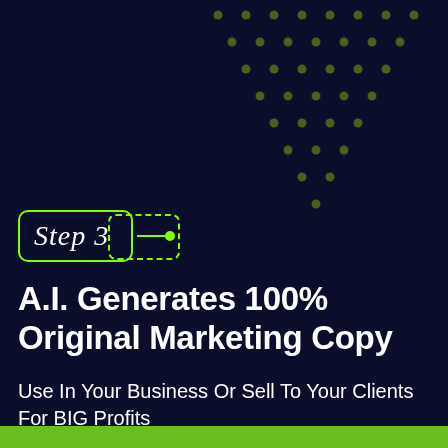[Figure (illustration): Dark navy background with decorative olive/green dot pattern in upper right corner]
Step 3
A.I. Generates 100% Original Marketing Copy
Use In Your Business Or Sell To Your Clients For BIG Profits